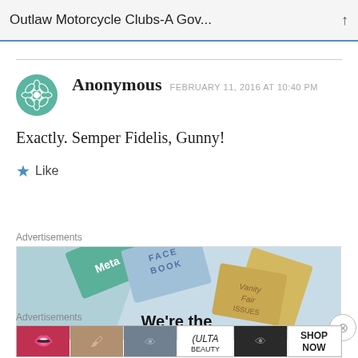Outlaw Motorcycle Clubs-A Gov...
Anonymous   FEBRUARY 11, 2016 AT 10:40 PM
Exactly. Semper Fidelis, Gunny!
Like
Advertisements
[Figure (photo): Advertisement banner showing Meta and Facebook cards with text 'We're the']
Advertisements
[Figure (photo): Beauty advertisement banner with lips, makeup brush, eye, ULTA logo, eyes, and SHOP NOW text]